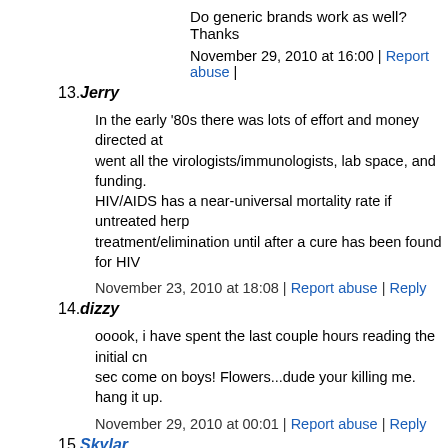Do generic brands work as well? Thanks
November 29, 2010 at 16:00 | Report abuse |
13. Jerry
In the early '80s there was lots of effort and money directed at went all the virologists/immunologists, lab space, and funding. HIV/AIDS has a near-universal mortality rate if untreated herp treatment/elimination until after a cure has been found for HIV
November 23, 2010 at 18:08 | Report abuse | Reply
14. dizzy
ooook, i have spent the last couple hours reading the initial cn sec come on boys! Flowers...dude your killing me. hang it up.
November 29, 2010 at 00:01 | Report abuse | Reply
15. Skylar
There has to be a cure out there if you just combine everything you can use that which is good for skin mix that with achohol freeze it to about 28 degrees it wont freeze because of the alco
November 29, 2010 at 21:58 | Report abuse | Reply
16. negative9